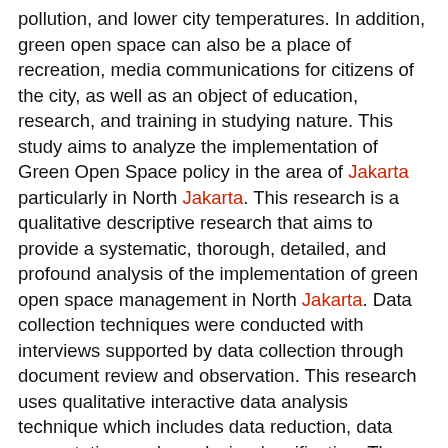pollution, and lower city temperatures. In addition, green open space can also be a place of recreation, media communications for citizens of the city, as well as an object of education, research, and training in studying nature. This study aims to analyze the implementation of Green Open Space policy in the area of Jakarta particularly in North Jakarta. This research is a qualitative descriptive research that aims to provide a systematic, thorough, detailed, and profound analysis of the implementation of green open space management in North Jakarta. Data collection techniques were conducted with interviews supported by data collection through document review and observation. This research uses qualitative interactive data analysis technique which includes data reduction, data presentation, and conclusion / verification. The data validity test is done by using source triangulation.The results present that the implementation of the provision of green open space in North Jakarta Administration City is still not optimal and realized by 5% due to the use of land available for RTH does not function as the designation and the existence of some obstacles faced as weak supervision, land prices are expensive, improvement of undeveloped land and the lack of dissemination to the public. Therefore, this study recommend the need for a political will from the government...